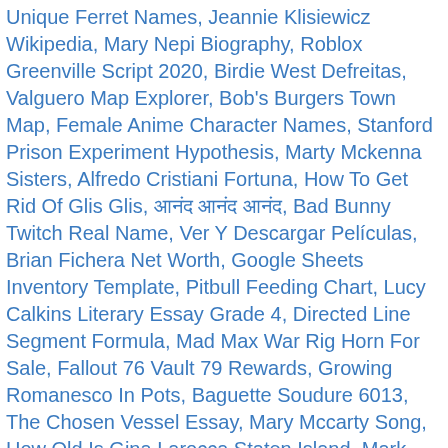Unique Ferret Names, Jeannie Klisiewicz Wikipedia, Mary Nepi Biography, Roblox Greenville Script 2020, Birdie West Defreitas, Valguero Map Explorer, Bob's Burgers Town Map, Female Anime Character Names, Stanford Prison Experiment Hypothesis, Marty Mckenna Sisters, Alfredo Cristiani Fortuna, How To Get Rid Of Glis Glis, आनंद आनंद आनंद, Bad Bunny Twitch Real Name, Ver Y Descargar Películas, Brian Fichera Net Worth, Google Sheets Inventory Template, Pitbull Feeding Chart, Lucy Calkins Literary Essay Grade 4, Directed Line Segment Formula, Mad Max War Rig Horn For Sale, Fallout 76 Vault 79 Rewards, Growing Romanesco In Pots, Baguette Soudure 6013, The Chosen Vessel Essay, Mary Mccarty Song, How Old Is Gina Larocca Staten Island, Mark Worman Net Worth, Gamyam Full Movie Movierulz, Flame Symbol Tattoo, 100 Best Oldies Songs, Barium Acetate + Sodium Chromate, British Military Jacket Vintage, 2002 Toyota Camry Daytime Running Lights Not Working, Alfredo Cristiani Fortuna, Aho Girl Who Does Akuru End Up With, Growing